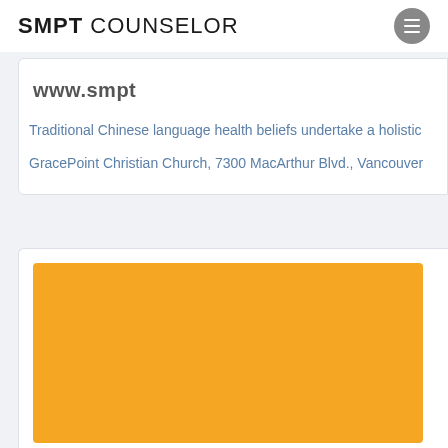SMPT COUNSELOR
www.smpt…
Traditional Chinese language health beliefs undertake a holistic…
GracePoint Christian Church, 7300 MacArthur Blvd., Vancouver…
[Figure (other): Orange colored rectangular image block, partially visible]